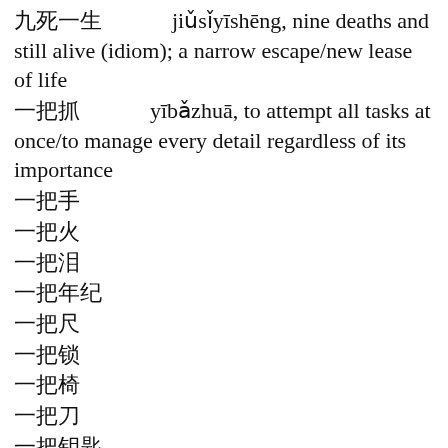九死一生 jiǔsǐyīshēng, nine deaths and still alive (idiom); a narrow escape/new lease of life
一把抓 yībǎzhuā, to attempt all tasks at once/to manage every detail regardless of its importance
一把手
一把火
一把泪
一把年纪
一把尺
一把锁
一把椅
一把刀
一把钥匙
一把伞
一把蒜
一念之差 yīniànzhīchā, momentary slip/false step/ill-considered action